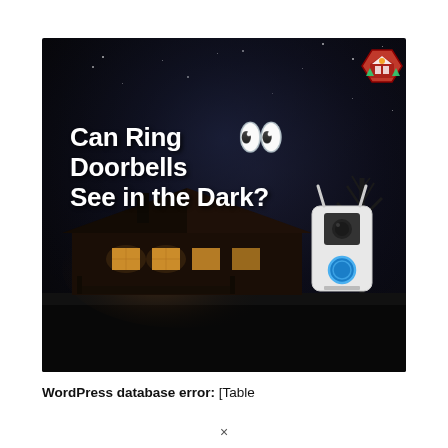[Figure (photo): Night-time promotional image for Ring doorbell article. Dark starry sky over a house with glowing windows. Text overlay reads 'Can Ring Doorbells See in the Dark?' with cartoon eyes emoji. A Ring video doorbell device is shown in the lower right. A logo badge (red/orange hexagon shape) appears in the top right corner.]
WordPress database error: [Table
×